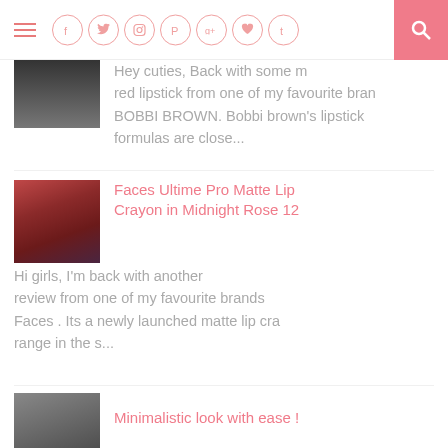Navigation bar with hamburger menu, social icons (facebook, twitter, instagram, pinterest, google+, heart, tumblr), and search button
[Figure (photo): Partial thumbnail image of a dark-toned product photo at top]
Hey cuties, Back with some m red lipstick from one of my favourite bran BOBBI BROWN. Bobbi brown's lipstick formulas are close...
[Figure (photo): Thumbnail of a person holding a red lip crayon pencil]
Faces Ultime Pro Matte Lip Crayon in Midnight Rose 12
Hi girls, I'm back with another review from one of my favourite brands Faces . Its a newly launched matte lip cra range in the s...
[Figure (photo): Partial thumbnail of a dark/hair photo at bottom]
Minimalistic look with ease !